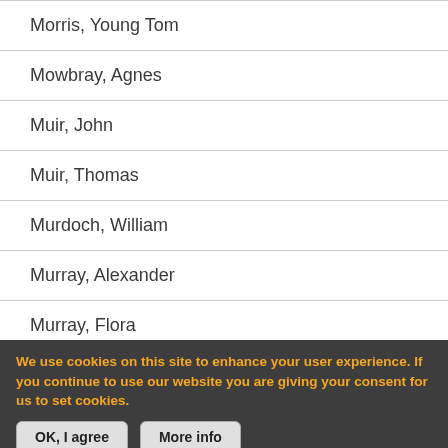Morris, Young Tom
Mowbray, Agnes
Muir, John
Muir, Thomas
Murdoch, William
Murray, Alexander
Murray, Flora
Murray, John (oceanographer)
Murray, John
Nairne, Caroline
We use cookies on this site to enhance your user experience. If you continue to use our website you are giving your consent for us to set cookies.